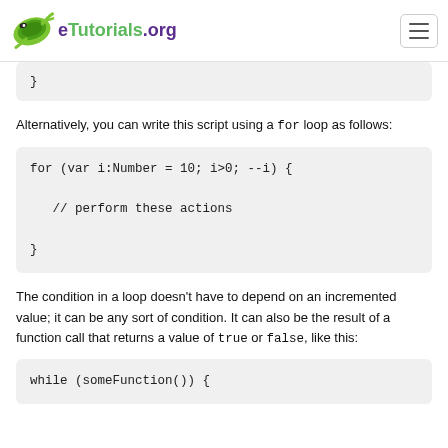eTutorials.org
}
Alternatively, you can write this script using a for loop as follows:
for (var i:Number = 10; i>0; --i) {

   // perform these actions

}
The condition in a loop doesn't have to depend on an incremented value; it can be any sort of condition. It can also be the result of a function call that returns a value of true or false, like this:
while (someFunction()) {